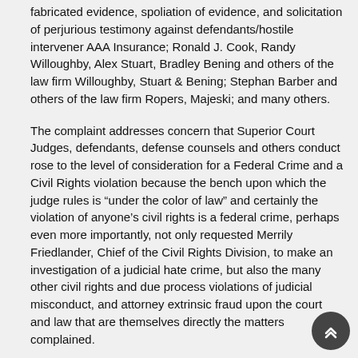fabricated evidence, spoliation of evidence, and solicitation of perjurious testimony against defendants/hostile intervener AAA Insurance; Ronald J. Cook, Randy Willoughby, Alex Stuart, Bradley Bening and others of the law firm Willoughby, Stuart & Bening; Stephan Barber and others of the law firm Ropers, Majeski; and many others.
The complaint addresses concern that Superior Court Judges, defendants, defense counsels and others conduct rose to the level of consideration for a Federal Crime and a Civil Rights violation because the bench upon which the judge rules is “under the color of law” and certainly the violation of anyone’s civil rights is a federal crime, perhaps even more importantly, not only requested Merrily Friedlander, Chief of the Civil Rights Division, to make an investigation of a judicial hate crime, but also the many other civil rights and due process violations of judicial misconduct, and attorney extrinsic fraud upon the court and law that are themselves directly the matters complained.
After review in the U. S. A. G. Office, the case was thought of as being so egregious that even the infamous Bradley Schlozman, whom is now fired and facing Federal indictment with resigned former Attorney General Alberto Gonzalez for removing Democratic attorneys from the U. S. Attorneys Generals offices nationwide, sent al-Hakim a letter referring the matter (because